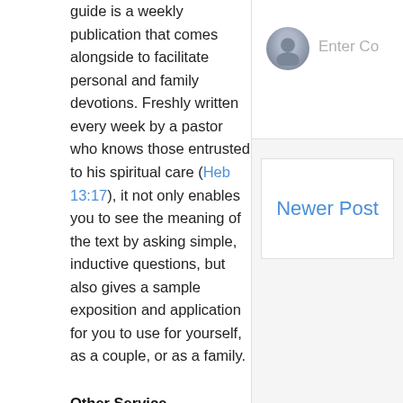guide is a weekly publication that comes alongside to facilitate personal and family devotions. Freshly written every week by a pastor who knows those entrusted to his spiritual care (Heb 13:17), it not only enables you to see the meaning of the text by asking simple, inductive questions, but also gives a sample exposition and application for you to use for yourself, as a couple, or as a family.
Other Service, Fellowship, and Worship Opportunities
The ministry of the Gospel at Hopewell focuses especially upon those church activities started and commanded by Christ Himself. While formalized/programmed events can be useful to get us going, our elders encourage us to take the initiative ourselves.
Some examples have included a ladies' book club, sidewalk ministry at Planned Parenthood of Nashville, and a ladies' fellowship tea put on by some of the youngest ladies in the congregation.